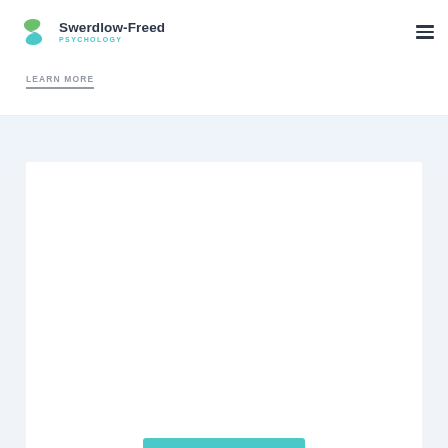[Figure (logo): Swerdlow-Freed Psychology logo with a teal/green S-shaped swoosh icon and text 'Swerdlow-Freed' in dark gray bold and 'PSYCHOLOGY' in teal uppercase letters]
LEARN MORE